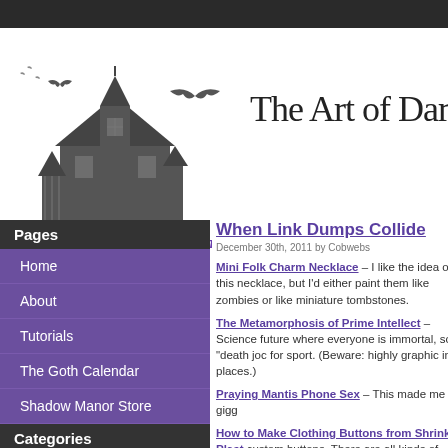[Figure (illustration): Shadow Manor logo: dark haunted house silhouette with bats, and 'Shadow Manor' text in purple Gothic font]
The Art of Darkness
Pages
Home
About
Tutorials
The Goth Calendar
Shadow Manor Store
Categories
Bad Things
Bittens
When Link Dumps Collide
December 30th, 2011 by Cobwebs
Mini Folk Charm Necklace – I like the idea of this necklace, but I'd either paint them like zombies or like miniature tombstones.
The Metamorphosis of Prime Intellect – Science future where everyone is immortal, so "death joc for sport. (Beware: highly graphic in places.)
Praying Mantis Phone Sex – This made me gigg
How to Make Clothing Buttons from Shrink Plast custom buttons. There are all kinds of dark poss
The Chirurgeon's Apprentice – "A website dedica anaesthetic surgery." I heart modern medicine.
Cap'n Wacky's Boatload of Evil – Includes the a